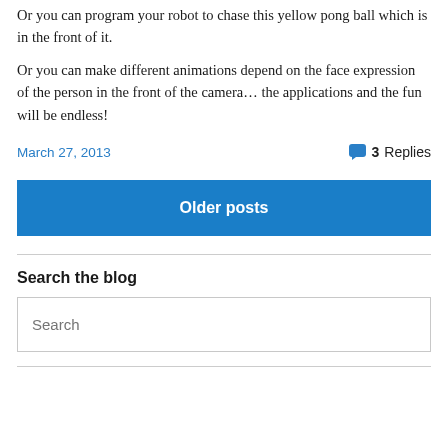Or you can program your robot to chase this yellow pong ball which is in the front of it.
Or you can make different animations depend on the face expression of the person in the front of the camera… the applications and the fun will be endless!
March 27, 2013   💬 3 Replies
Older posts
Search the blog
Search